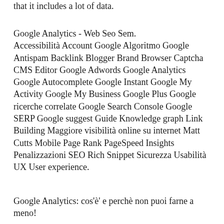that it includes a lot of data.
Google Analytics - Web Seo Sem. Accessibilità Account Google Algoritmo Google Antispam Backlink Blogger Brand Browser Captcha CMS Editor Google Adwords Google Analytics Google Autocomplete Google Instant Google My Activity Google My Business Google Plus Google ricerche correlate Google Search Console Google SERP Google suggest Guide Knowledge graph Link Building Maggiore visibilità online su internet Matt Cutts Mobile Page Rank PageSpeed Insights Penalizzazioni SEO Rich Snippet Sicurezza Usabilità UX User experience.
Google Analytics: cos'è' e perchè non puoi farne a meno!